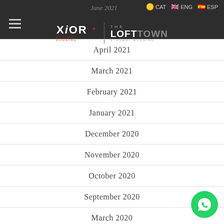June 2021 | CAT | ENG | ESP | XIOR STUDENT HOUSING | THE LOFT TOWN
April 2021
March 2021
February 2021
January 2021
December 2020
November 2020
October 2020
September 2020
March 2020
February 2020
January 2020